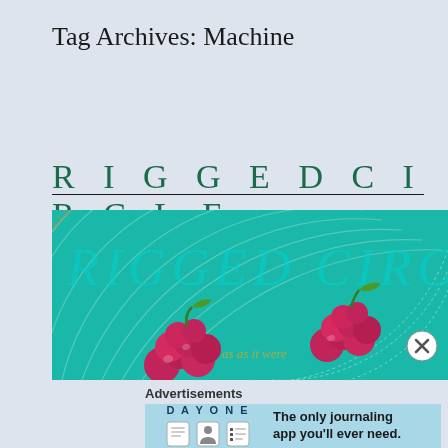Tag Archives: Machine
R I G G E D  C I R C L E
[Figure (illustration): Book cover for 'Rigged Circle' showing text 'RIGGED CIRCLE' in teal/cyan lettering on a teal background with concentric circular patterns and bunches of dark red/magenta grapes, with cursive text reading 'as as it were']
[Figure (other): Close button (circled X) overlapping the book cover image]
Advertisements
[Figure (other): DayOne app advertisement banner: 'DAY ONE - The only journaling app you'll ever need.' on a light blue background with app icons]